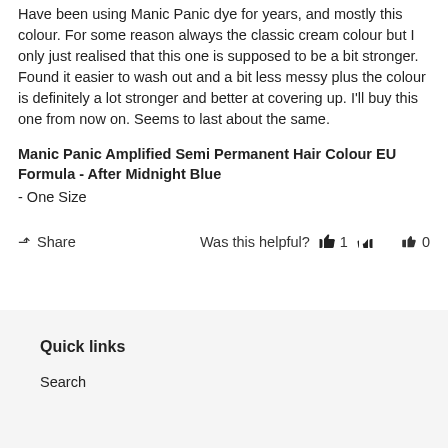Have been using Manic Panic dye for years, and mostly this colour. For some reason always the classic cream colour but I only just realised that this one is supposed to be a bit stronger. Found it easier to wash out and a bit less messy plus the colour is definitely a lot stronger and better at covering up. I'll buy this one from now on. Seems to last about the same.
Manic Panic Amplified Semi Permanent Hair Colour EU Formula - After Midnight Blue
- One Size
Share   Was this helpful?  👍 1  👎 0
Quick links
Search